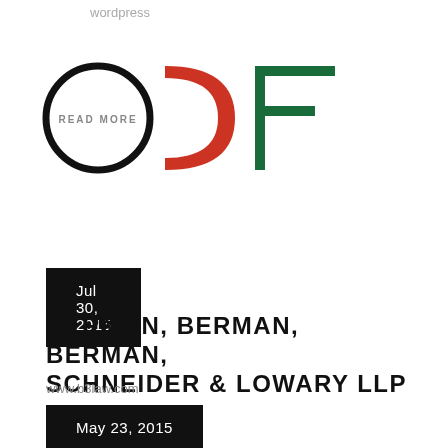wordpress
[Figure (logo): ODF logo with circular O in black outline, red C/D shape, and green F letterform, with READ MORE text inside the circle]
Jul 30, 2015
BERMAN, BERMAN, BERMAN, SCHNEIDER & LOWARY LLP
www.b3law.com
law firm
wordpress
READ MORE
May 23, 2015